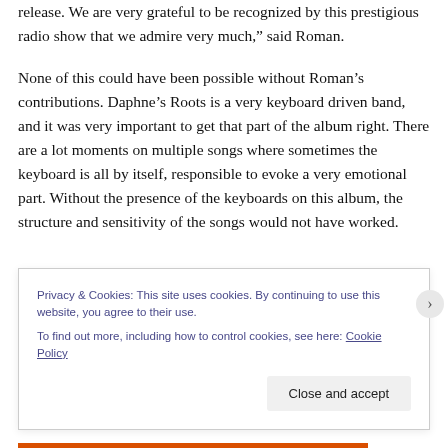release. We are very grateful to be recognized by this prestigious radio show that we admire very much," said Roman.
None of this could have been possible without Roman's contributions. Daphne's Roots is a very keyboard driven band, and it was very important to get that part of the album right. There are a lot moments on multiple songs where sometimes the keyboard is all by itself, responsible to evoke a very emotional part. Without the presence of the keyboards on this album, the structure and sensitivity of the songs would not have worked.
Privacy & Cookies: This site uses cookies. By continuing to use this website, you agree to their use.
To find out more, including how to control cookies, see here: Cookie Policy